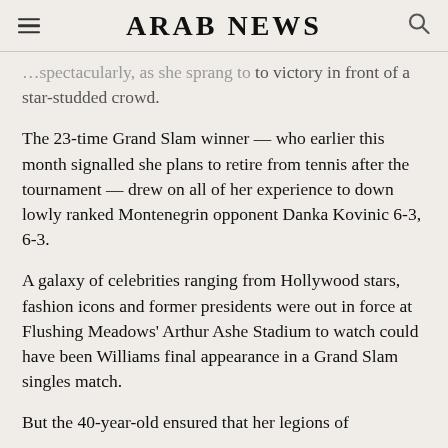ARAB NEWS
… spectacularly, as she sprang to victory in front of a star-studded crowd.
The 23-time Grand Slam winner — who earlier this month signalled she plans to retire from tennis after the tournament — drew on all of her experience to down lowly ranked Montenegrin opponent Danka Kovinic 6-3, 6-3.
A galaxy of celebrities ranging from Hollywood stars, fashion icons and former presidents were out in force at Flushing Meadows' Arthur Ashe Stadium to watch could have been Williams final appearance in a Grand Slam singles match.
But the 40-year-old ensured that her legions of